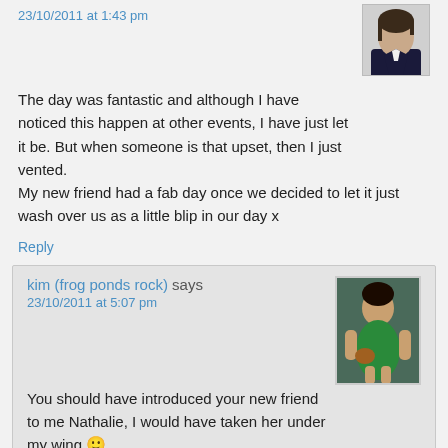23/10/2011 at 1:43 pm
The day was fantastic and although I have noticed this happen at other events, I have just let it be. But when someone is that upset, then I just vented.
My new friend had a fab day once we decided to let it just wash over us as a little blip in our day x
Reply
kim (frog ponds rock) says
23/10/2011 at 5:07 pm
You should have introduced your new friend to me Nathalie, I would have taken her under my wing 🙂
Reply